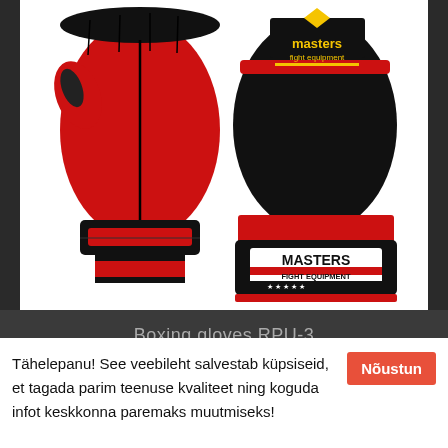[Figure (photo): Two boxing gloves (Masters Fight Equipment RPU-3) shown side by side. Left glove is red and black showing the palm/inner side. Right glove is black with yellow Masters Fight Equipment branding on top and a red/black wrist strap with MASTERS FIGHT EQUIPMENT logo and five stars.]
Boxing gloves RPU-3
Tähelepanu! See veebileht salvestab küpsiseid, et tagada parim teenuse kvaliteet ning koguda infot keskkonna paremaks muutmiseks!